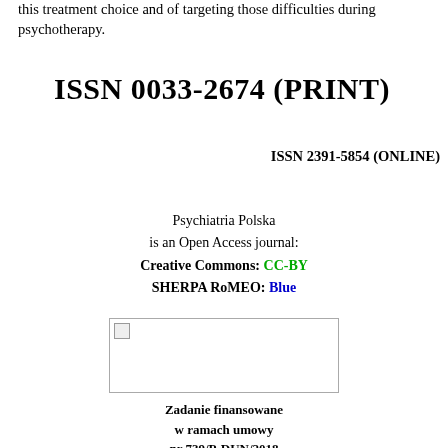this treatment choice and of targeting those difficulties during psychotherapy.
ISSN 0033-2674 (PRINT)
ISSN 2391-5854 (ONLINE)
Psychiatria Polska
is an Open Access journal:
Creative Commons: CC-BY
SHERPA RoMEO: Blue
[Figure (other): Placeholder image box with broken image icon]
Zadanie finansowane
w ramach umowy
nr 739/P-DUN/2018
ze środków MNiSW